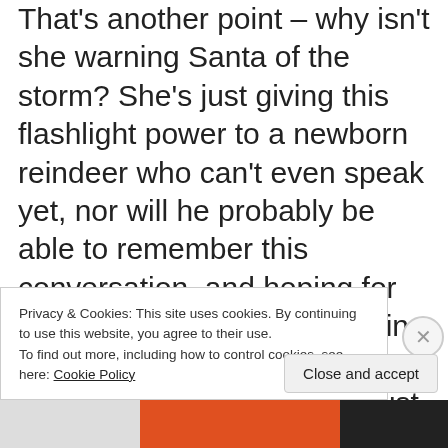That's another point – why isn't she warning Santa of the storm? She's just giving this flashlight power to a newborn reindeer who can't even speak yet, nor will he probably be able to remember this conversation, and hoping for the best. She's not even telling Rudolph about Winterbolt's plan. Out of context, she's just giving a random baby reindeer (who is still so adorable it hurts) the power to turn his nose into a laser pointer. You suck,
Privacy & Cookies: This site uses cookies. By continuing to use this website, you agree to their use. To find out more, including how to control cookies, see here: Cookie Policy